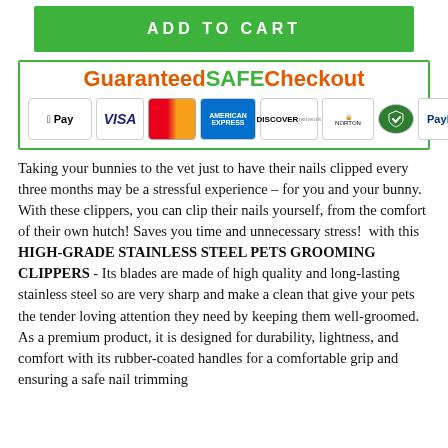[Figure (other): Add to Cart green button]
[Figure (other): Guaranteed SAFE Checkout badge with payment icons: Apple Pay, Visa, Mastercard, American Express, Discover, Norton, Sectigo, PayPal]
Taking your bunnies to the vet just to have their nails clipped every three months may be a stressful experience – for you and your bunny. With these clippers, you can clip their nails yourself, from the comfort of their own hutch! Saves you time and unnecessary stress!  with this HIGH-GRADE STAINLESS STEEL PETS GROOMING CLIPPERS - Its blades are made of high quality and long-lasting stainless steel so are very sharp and make a clean that give your pets the tender loving attention they need by keeping them well-groomed. As a premium product, it is designed for durability, lightness, and comfort with its rubber-coated handles for a comfortable grip and ensuring a safe nail trimming